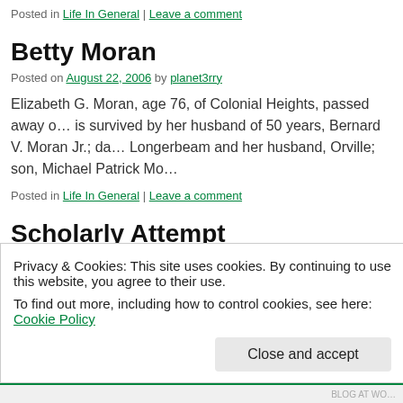Posted in Life In General | Leave a comment
Betty Moran
Posted on August 22, 2006 by planet3rry
Elizabeth G. Moran, age 76, of Colonial Heights, passed away o… is survived by her husband of 50 years, Bernard V. Moran Jr.; da… Longerbeam and her husband, Orville; son, Michael Patrick Mo…
Posted in Life In General | Leave a comment
Scholarly Attempt
Posted on August 21, 2006 by planet3rry
Privacy & Cookies: This site uses cookies. By continuing to use this website, you agree to their use.
To find out more, including how to control cookies, see here: Cookie Policy